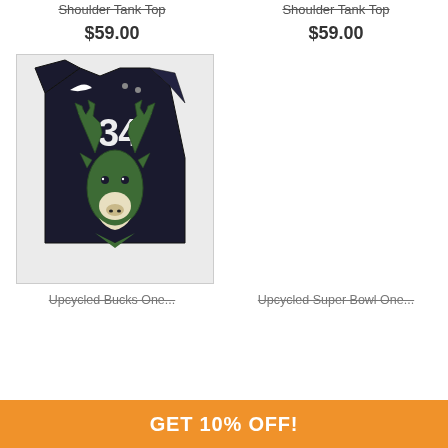Shoulder Tank Top
$59.00
Shoulder Tank Top
$59.00
[Figure (photo): Black Milwaukee Bucks one-shoulder tank top with large green deer/buck logo and number 34, Nike swoosh, displayed flat on white background]
Upcycled Bucks One...
Upcycled Super Bowl One...
GET 10% OFF!